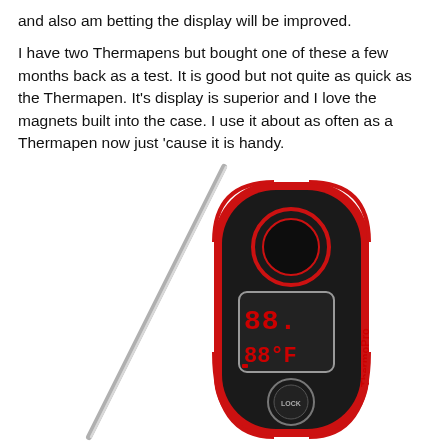and also am betting the display will be improved.
I have two Thermapens but bought one of these a few months back as a test. It is good but not quite as quick as the Thermapen. It's display is superior and I love the magnets built into the case. I use it about as often as a Thermapen now just 'cause it is handy.
[Figure (photo): A ThermoPro instant-read meat thermometer with a folding probe. The device has a black body with red trim/edges, a digital LCD display showing red digits, a circular LOCK button, and the ThermoPro brand name. The metal probe is extended/unfolded pointing to the upper left.]